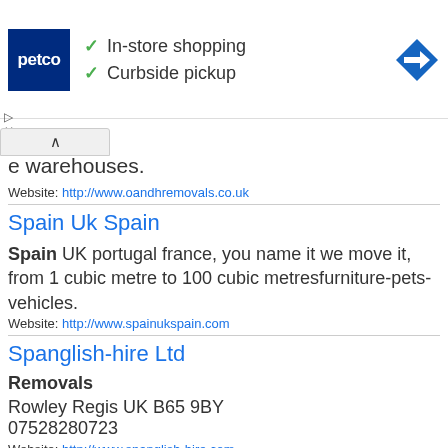[Figure (screenshot): Petco advertisement banner with logo, checkmarks for In-store shopping and Curbside pickup, and a blue navigation icon]
e warehouses.
Website: http://www.oandhremovals.co.uk
Spain Uk Spain
Spain UK portugal france, you name it we move it, from 1 cubic metre to 100 cubic metresfurniture-pets-vehicles.
Website: http://www.spainukspain.com
Spanglish-hire Ltd
Removals
Rowley Regis UK B65 9BY
07528280723
Website: http://www.spanglish-hire.com